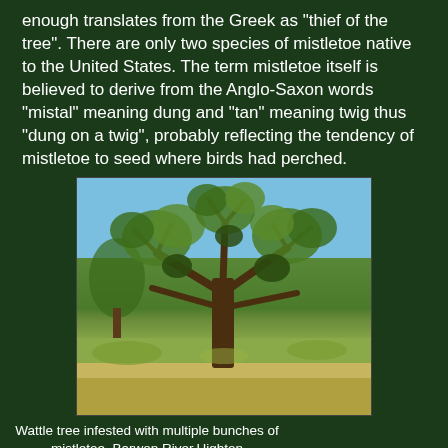enough translates from the Greek as "thief of the tree". There are only two species of mistletoe native to the United States. The term mistletoe itself is believed to derive from the Anglo-Saxon words "mistal" meaning dung and "tan" meaning twig thus "dung on a twig", probably reflecting the tendency of mistletoe to seed where birds had perched.
[Figure (photo): Wattle tree infested with multiple bunches of mistletoe, Barwon River, Highton]
Wattle tree infested with multiple bunches of mistletoe, Barwon River,Highton
So, is there mistletoe along the Barwon? Yes, and it didn't take us long to spot some. From what I can tell, it is Amyema preissii - the wire-leaved mistletoe whose preferred host is